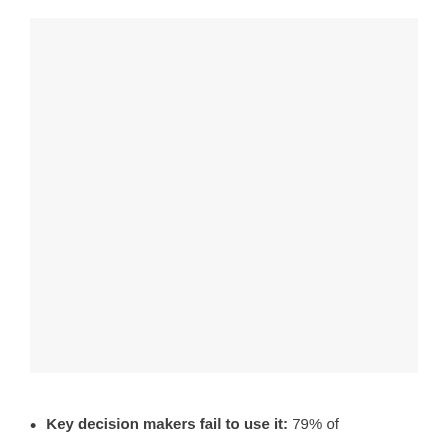[Figure (other): Large mostly blank/white image area occupying the upper portion of the page]
Key decision makers fail to use it: 79% of